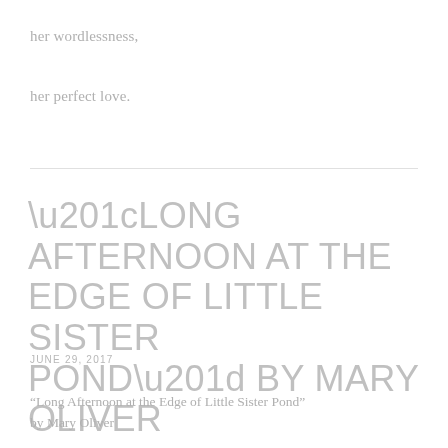her wordlessness,
her perfect love.
“LONG AFTERNOON AT THE EDGE OF LITTLE SISTER POND” BY MARY OLIVER
JUNE 29, 2017
“Long Afternoon at the Edge of Little Sister Pond” by Mary Oliver